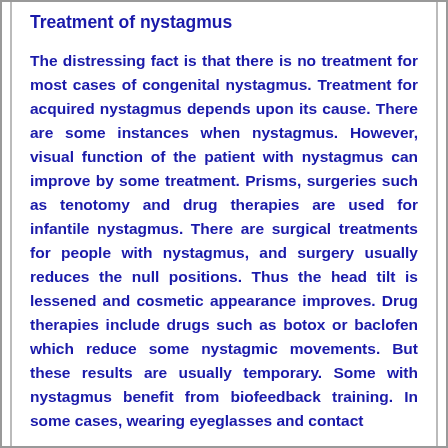Treatment of nystagmus
The distressing fact is that there is no treatment for most cases of congenital nystagmus. Treatment for acquired nystagmus depends upon its cause. There are some instances when nystagmus. However, visual function of the patient with nystagmus can improve by some treatment. Prisms, surgeries such as tenotomy and drug therapies are used for infantile nystagmus. There are surgical treatments for people with nystagmus, and surgery usually reduces the null positions. Thus the head tilt is lessened and cosmetic appearance improves. Drug therapies include drugs such as botox or baclofen which reduce some nystagmic movements. But these results are usually temporary. Some with nystagmus benefit from biofeedback training. In some cases, wearing eyeglasses and contact